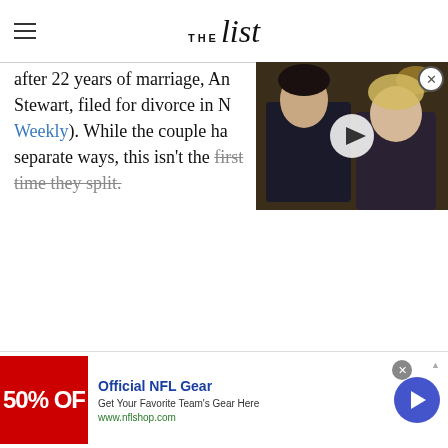THE list
after 22 years of marriage, An Stewart, filed for divorce in M Weekly). While the couple ha separate ways, this isn't the first time they split.
[Figure (photo): Video thumbnail showing two actors, a man in dark suit and a blonde woman, overlaid with a play button]
[Figure (screenshot): Advertisement banner for Official NFL Gear: '50% OFF' in red, showing 'Get Your Favorite Team's Gear Here', www.nflshop.com, with a blue arrow button]